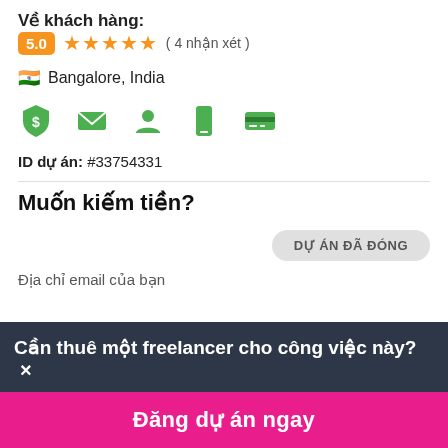Về khách hàng:
5.0 ★★★★★ ( 4 nhận xét )
🇮🇳 Bangalore, India
[Figure (infographic): Row of 5 green verification icons: dollar shield, email envelope, person, phone, credit card]
ID dự án: #33754331
Muốn kiếm tiền?
DỰ ÁN ĐÃ ĐÓNG
Địa chỉ email của bạn
Cần thuê một freelancer cho công việc này? ×
Đăng dự án ngay